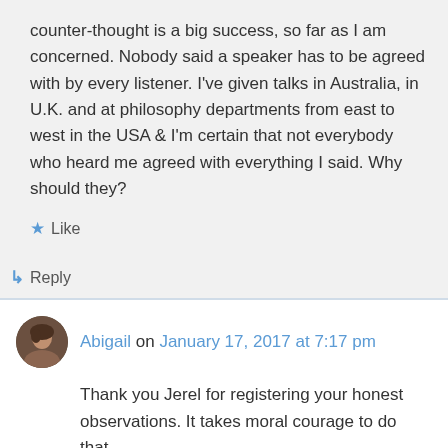counter-thought is a big success, so far as I am concerned. Nobody said a speaker has to be agreed with by every listener. I've given talks in Australia, in U.K. and at philosophy departments from east to west in the USA & I'm certain that not everybody who heard me agreed with everything I said. Why should they?
★ Like
↳ Reply
Abigail on January 17, 2017 at 7:17 pm
Thank you Jerel for registering your honest observations. It takes moral courage to do that,